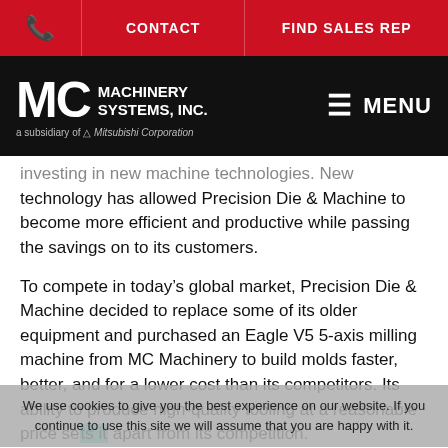📞  CONTACT  FIND SALES REP
[Figure (logo): MC Machinery Systems, Inc. logo — white text on black background, with 'a subsidiary of Mitsubishi Corporation' tagline and hamburger MENU button on right]
investing in new machine technologies. New technology has allowed Precision Die & Machine to become more efficient and productive while passing the savings on to its customers.
To compete in today's global market, Precision Die & Machine decided to replace some of its older equipment and purchased an Eagle V5 5-axis milling machine from MC Machinery to build molds faster, better, and for a lower cost than its competitors. Its ability to produce high-quality tooling at a reasonable price sets it apart from its competition.
We use cookies to give you the best experience on our website. If you continue to use this site we will assume that you are happy with it.